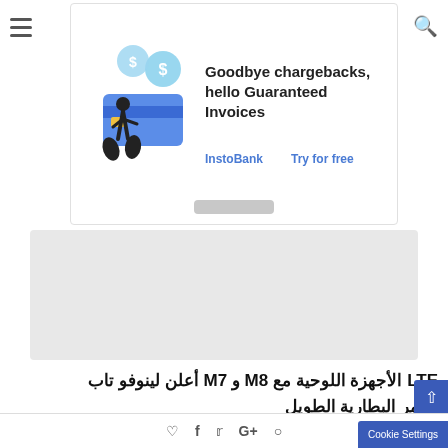[Figure (illustration): Advertisement banner: InstoBank - Goodbye chargebacks, hello Guaranteed Invoices. Shows illustration of person with credit card and dollar coins, links: InstoBank and Try for free]
[Figure (other): Grey rectangular content placeholder area]
لينوفو تاب أعلن M7 و M8 مع الأجهزة اللوحية LTE وعمر البطارية الطويل
كل من هذه Tab M8. و Tab M7 أطلقت لينوفو الجيل الثاني من الأجهزة اللوحية...